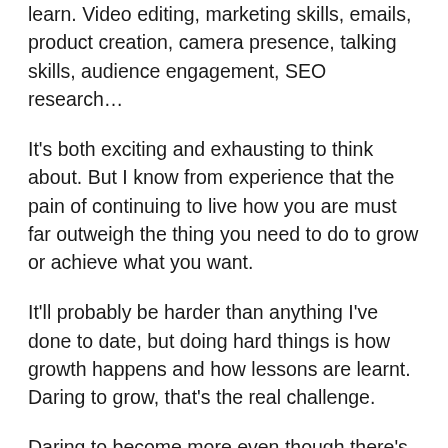learn. Video editing, marketing skills, emails, product creation, camera presence, talking skills, audience engagement, SEO research…
It's both exciting and exhausting to think about. But I know from experience that the pain of continuing to live how you are must far outweigh the thing you need to do to grow or achieve what you want.
It'll probably be harder than anything I've done to date, but doing hard things is how growth happens and how lessons are learnt. Daring to grow, that's the real challenge.
Daring to become more even though there's a small voice in my mind that tries to convince me why I can't or shouldn't.